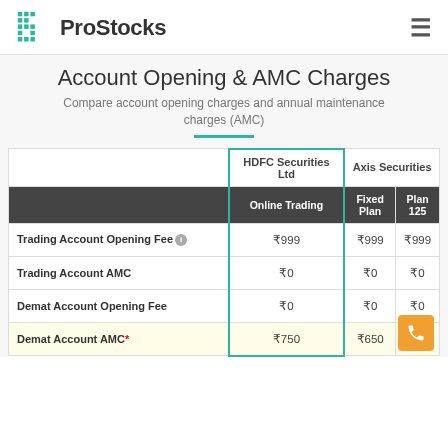ProStocks
Account Opening & AMC Charges
Compare account opening charges and annual maintenance charges (AMC)
|  | HDFC Securities Ltd – Online Trading | Axis Securities – Fixed Plan | Axis Securities – Plan 125 |
| --- | --- | --- | --- |
| Trading Account Opening Fee | ₹999 | ₹999 | ₹999 |
| Trading Account AMC | ₹0 | ₹0 | ₹0 |
| Demat Account Opening Fee | ₹0 | ₹0 | ₹0 |
| Demat Account AMC* | ₹750 | ₹650 |  |